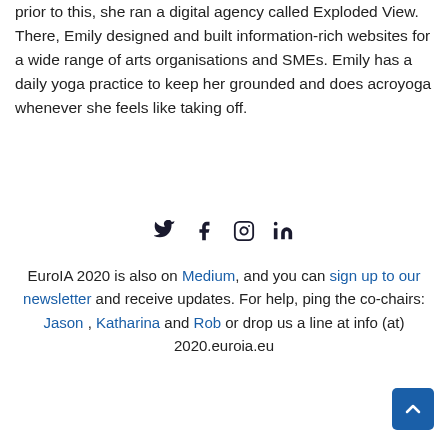prior to this, she ran a digital agency called Exploded View. There, Emily designed and built information-rich websites for a wide range of arts organisations and SMEs. Emily has a daily yoga practice to keep her grounded and does acroyoga whenever she feels like taking off.
[Figure (infographic): Social media icons: Twitter, Facebook, Instagram, LinkedIn]
EuroIA 2020 is also on Medium, and you can sign up to our newsletter and receive updates. For help, ping the co-chairs: Jason , Katharina and Rob or drop us a line at info (at) 2020.euroia.eu